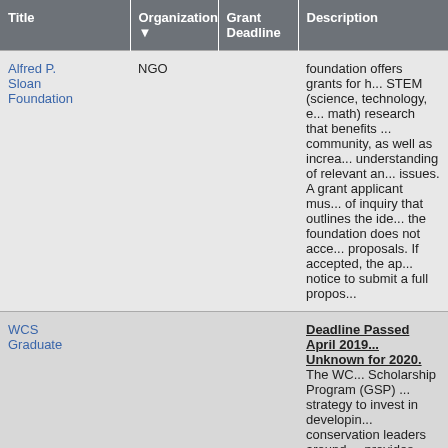| Title | Organization ▼ | Grant Deadline | Description |
| --- | --- | --- | --- |
| Alfred P. Sloan Foundation | NGO |  | foundation offers grants for h... STEM (science, technology, e... math) research that benefits ... community, as well as increa... understanding of relevant an... issues. A grant applicant mus... of inquiry that outlines the ide... the foundation does not acce... proposals. If accepted, the ap... notice to submit a full propos... |
| WCS Graduate |  |  | Deadline Passed April 2019... Unknown for 2020. The WC... Scholarship Program (GSP) ... strategy to invest in developin... conservation leaders around ... provides access to internatio... education opportunities (mas... programs) to exceptional con... Asia/Pacific, Africa, Latin Am... American indigenous groups ... nominated by WCS global c... |